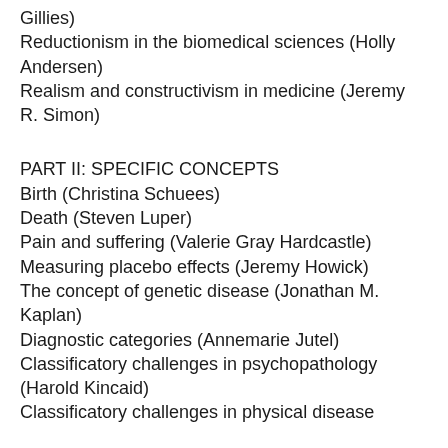Gillies)
Reductionism in the biomedical sciences (Holly Andersen)
Realism and constructivism in medicine (Jeremy R. Simon)
PART II: SPECIFIC CONCEPTS
Birth (Christina Schuees)
Death (Steven Luper)
Pain and suffering (Valerie Gray Hardcastle)
Measuring placebo effects (Jeremy Howick)
The concept of genetic disease (Jonathan M. Kaplan)
Diagnostic categories (Annemarie Jutel)
Classificatory challenges in psychopathology (Harold Kincaid)
Classificatory challenges in physical disease